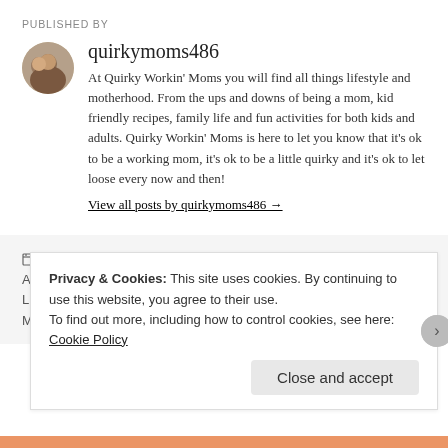PUBLISHED BY
quirkymoms486
At Quirky Workin' Moms you will find all things lifestyle and motherhood. From the ups and downs of being a mom, kid friendly recipes, family life and fun activities for both kids and adults. Quirky Workin' Moms is here to let you know that it's ok to be a working mom, it's ok to be a little quirky and it's ok to let loose every now and then!
View all posts by quirkymoms486 →
June 1, 2020   quirkymoms486   Lifestyle, Motherhood   Advice, Blog Content, Blogger, Comparing Ourselves, Influencer, Lifestyle Blog, Lifestyle Blogger, Mom Blog, mom blogger, mom life, Motherhood, Womanhood, Women, Wordpress, Wordpress Blogger
Privacy & Cookies: This site uses cookies. By continuing to use this website, you agree to their use.
To find out more, including how to control cookies, see here: Cookie Policy
Close and accept